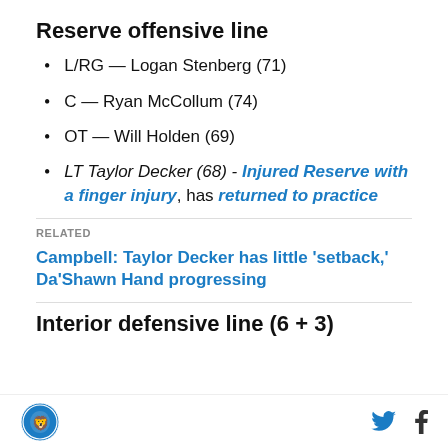Reserve offensive line
L/RG — Logan Stenberg (71)
C — Ryan McCollum (74)
OT — Will Holden (69)
LT Taylor Decker (68) - Injured Reserve with a finger injury, has returned to practice
RELATED
Campbell: Taylor Decker has little 'setback,' Da'Shawn Hand progressing
Interior defensive line (6 + 3)